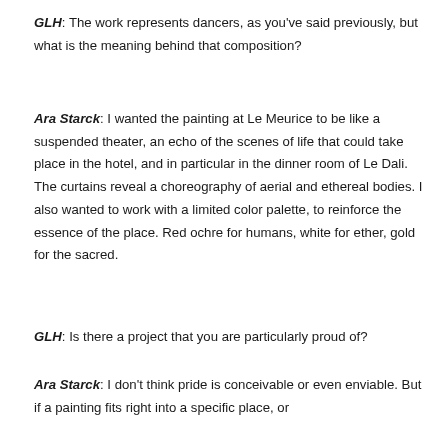GLH: The work represents dancers, as you've said previously, but what is the meaning behind that composition?
Ara Starck: I wanted the painting at Le Meurice to be like a suspended theater, an echo of the scenes of life that could take place in the hotel, and in particular in the dinner room of Le Dali. The curtains reveal a choreography of aerial and ethereal bodies. I also wanted to work with a limited color palette, to reinforce the essence of the place. Red ochre for humans, white for ether, gold for the sacred.
GLH: Is there a project that you are particularly proud of?
Ara Starck: I don't think pride is conceivable or even enviable. But if a painting fits right into a specific place, or